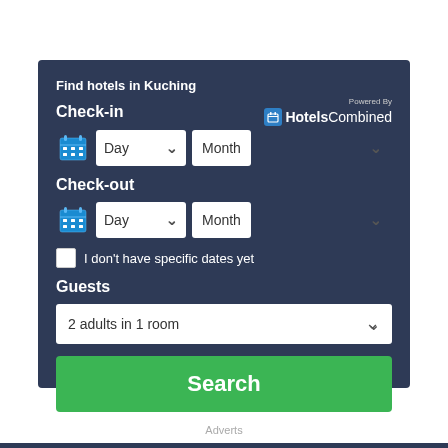[Figure (screenshot): Hotel search widget with dark navy background. Contains 'Find hotels in Kuching' title, HotelsCombined branding, Check-in and Check-out date selectors (Day/Month dropdowns with calendar icons), a checkbox for 'I don't have specific dates yet', Guests dropdown showing '2 adults in 1 room', and a green Search button.]
Adverts